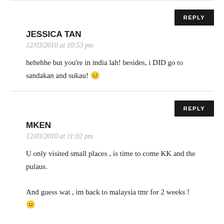JESSICA TAN
12/03/2010 at 10:53 pm
hehehhe but you're in india lah! besides, i DID go to sandakan and sukau! 😁
MKEN
12/03/2010 at 11:02 pm
U only visited small places , is time to come KK and the pulaus. And guess wat , im back to malaysia tmr for 2 weeks ! 😁